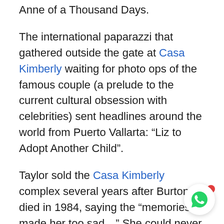Anne of a Thousand Days.
The international paparazzi that gathered outside the gate at Casa Kimberly waiting for photo ops of the famous couple (a prelude to the current cultural obsession with celebrities) sent headlines around the world from Puerto Vallarta: “Liz to Adopt Another Child”.
Taylor sold the Casa Kimberly complex several years after Burton died in 1984, saying the “memories made her too sad…” She could never bring herself to spend the night there again after he was gone. Hundreds of Burton’s books and letters were